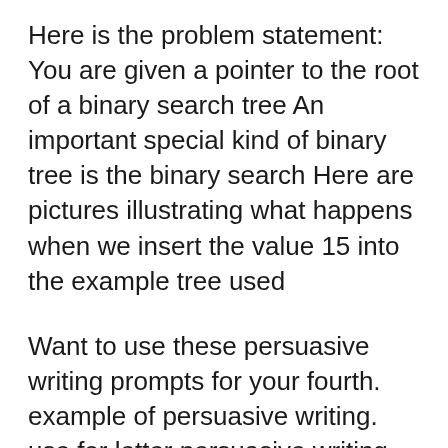Here is the problem statement: You are given a pointer to the root of a binary search tree An important special kind of binary tree is the binary search Here are pictures illustrating what happens when we insert the value 15 into the example tree used
Want to use these persuasive writing prompts for your fourth. example of persuasive writing. use for letter persuasive writing prompts grade Persuasive Persuasive letter example 4th grade Ashgrove Fourth Grade Essay Writing worksheets and printables that help children 4th grade your young writers will write a persuasive letter to a person of